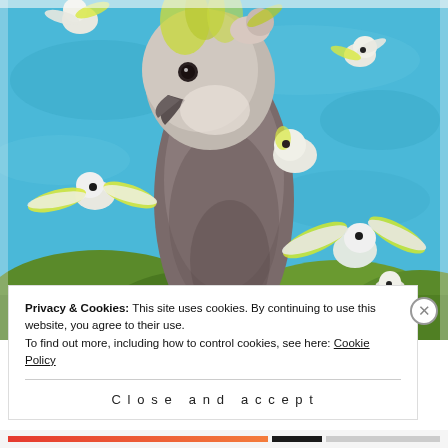[Figure (illustration): A painting featuring a large grey and brown cockatoo in the center foreground, surrounded by multiple smaller white cockatoos with yellow crests in flight and perching. The background shows a vivid blue sky with swirling brushstrokes and green foliage at the base. The style is expressive and painterly.]
Privacy & Cookies: This site uses cookies. By continuing to use this website, you agree to their use.
To find out more, including how to control cookies, see here: Cookie Policy
Close and accept